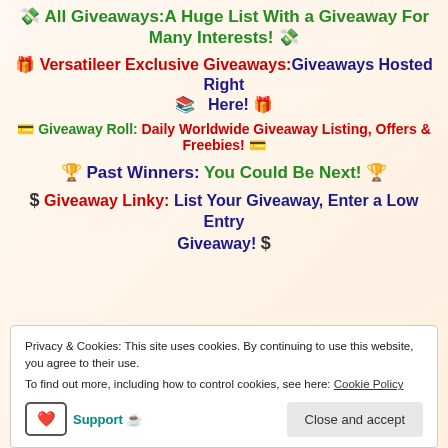💸 All Giveaways: A Huge List With a Giveaway For Many Interests! 💸
🎁 Versatileer Exclusive Giveaways: Giveaways Hosted Right Here! 🎁
💳 Giveaway Roll: Daily Worldwide Giveaway Listing, Offers & Freebies! 💳
🏆 Past Winners: You Could Be Next! 🏆
$ Giveaway Linky: List Your Giveaway, Enter a Low Entry Giveaway! $
Privacy & Cookies: This site uses cookies. By continuing to use this website, you agree to their use. To find out more, including how to control cookies, see here: Cookie Policy
Support ☕ | Close and accept